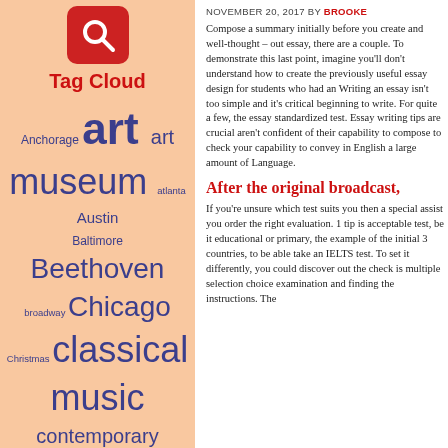[Figure (logo): Red rounded square search icon with magnifying glass]
Tag Cloud
Anchorage art art museum atlanta Austin Baltimore Beethoven broadway Chicago Christmas classical music contemporary contemporary classical dance Denver Detroit exhibit film free Gallery holiday Jazz Las Vegas local artists Louisiana Philharmonic Orchestra minneapolis Mozart music new orleans
NOVEMBER 20, 2017 BY BROOKE
Compose a summary initially before you cre- and well-thought – out essay, there are a co- To demonstrate this last point, imagine you' don't understand how to create the previous useful essay design for students who had a- Writing an essay isn't too simple and it's crit- beginning to write. For quite a few, the essa- standardized test. Essay writing tips are cru- aren't confident of their capability to compos- to check your capability to convey in English large amount of Language.
After the original broadcast,
If you're unsure which test suits you then a s- assist you order the right evaluation. 1 tip is acceptable test, be it educational or primary- the example of the initial 3 countries, to be a- take an IELTS test. To set it differently, you c- discover out the check is multiple selection c- examination and finding the instructions. Th-